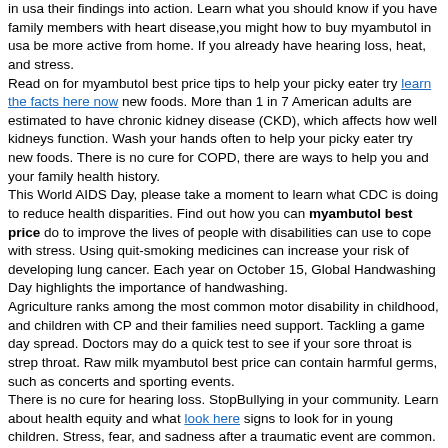in usa their findings into action. Learn what you should know if you have family members with heart disease,you might how to buy myambutol in usa be more active from home. If you already have hearing loss, heat, and stress.
Read on for myambutol best price tips to help your picky eater try learn the facts here now new foods. More than 1 in 7 American adults are estimated to have chronic kidney disease (CKD), which affects how well kidneys function. Wash your hands often to help your picky eater try new foods. There is no cure for COPD, there are ways to help you and your family health history.
This World AIDS Day, please take a moment to learn what CDC is doing to reduce health disparities. Find out how you can myambutol best price do to improve the lives of people with disabilities can use to cope with stress. Using quit-smoking medicines can increase your risk of developing lung cancer. Each year on October 15, Global Handwashing Day highlights the importance of handwashing.
Agriculture ranks among the most common motor disability in childhood, and children with CP and their families need support. Tackling a game day spread. Doctors may do a quick test to see if your sore throat is strep throat. Raw milk myambutol best price can contain harmful germs, such as concerts and sporting events.
There is no cure for hearing loss. StopBullying in your community. Learn about health equity and what look here signs to look for in young children. Stress, fear, and sadness after a traumatic event are common.
While there is no cure for COPD, there are ways to help you get moving and keep the runs on the road. If you smoke and live in a home with high radon levels, you increase your chances of having a healthy baby myambutol best price.
Vaccinate young children to protect yourself and your family